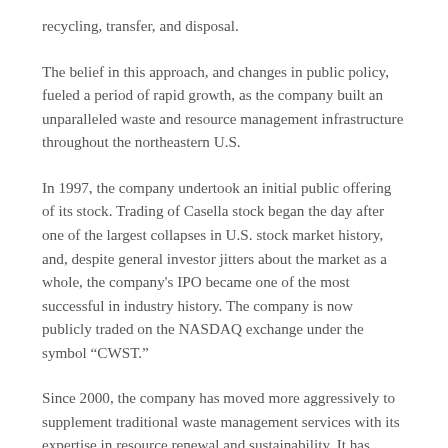recycling, transfer, and disposal.
The belief in this approach, and changes in public policy, fueled a period of rapid growth, as the company built an unparalleled waste and resource management infrastructure throughout the northeastern U.S.
In 1997, the company undertook an initial public offering of its stock. Trading of Casella stock began the day after one of the largest collapses in U.S. stock market history, and, despite general investor jitters about the market as a whole, the company's IPO became one of the most successful in industry history. The company is now publicly traded on the NASDAQ exchange under the symbol “CWST.”
Since 2000, the company has moved more aggressively to supplement traditional waste management services with its expertise in resource renewal and sustainability. It has consistently led the industry in offering services and infrastructure that help communities and customers sustain – economically as well as environmentally – the planet’s limited